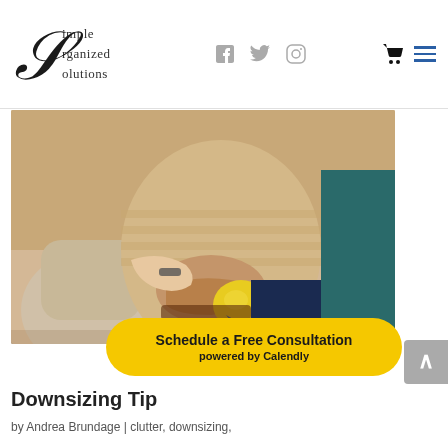Simple Organized Solutions
[Figure (photo): A caregiver holding the wrist of an elderly person who is seated and holding a yellow and blue ball. Both are sitting in chairs. A person in a teal sweater is visible in the background.]
Schedule a Free Consultation
powered by Calendly
Downsizing Tip
by Andrea Brundage | clutter, downsizing,